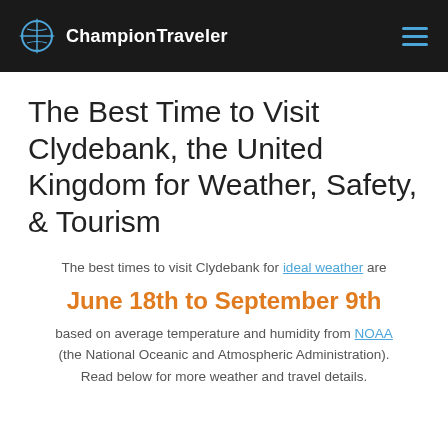ChampionTraveler
The Best Time to Visit Clydebank, the United Kingdom for Weather, Safety, & Tourism
The best times to visit Clydebank for ideal weather are
June 18th to September 9th
based on average temperature and humidity from NOAA (the National Oceanic and Atmospheric Administration). Read below for more weather and travel details.